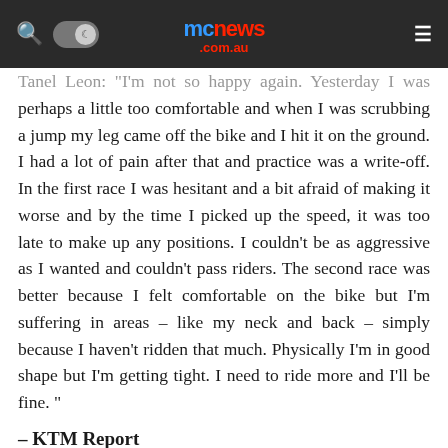mcnews.com.au
Tanel Leon: "I'm not so happy again. Yesterday I was perhaps a little too comfortable and when I was scrubbing a jump my leg came off the bike and I hit it on the ground. I had a lot of pain after that and practice was a write-off. In the first race I was hesitant and a bit afraid of making it worse and by the time I picked up the speed, it was too late to make up any positions. I couldn't be as aggressive as I wanted and couldn't pass riders. The second race was better because I felt comfortable on the bike but I'm suffering in areas – like my neck and back – simply because I haven't ridden that much. Physically I'm in good shape but I'm getting tight. I need to ride more and I'll be fine. "
– KTM Report